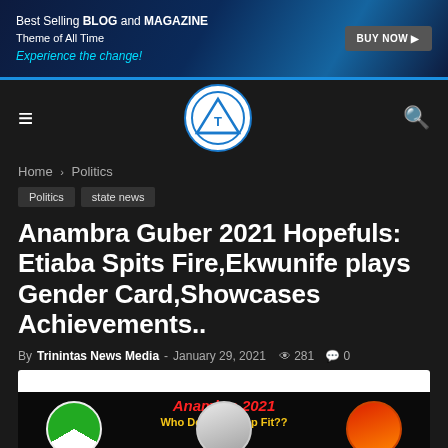[Figure (illustration): Advertisement banner: Best Selling BLOG and MAGAZINE Theme of All Time. Experience the change! BUY NOW button on dark blue background with tablet image.]
Trinintas News Media logo and navigation bar with hamburger menu and search icon
Home › Politics
Politics
state news
Anambra Guber 2021 Hopefuls: Etiaba Spits Fire,Ekwunife plays Gender Card,Showcases Achievements..
By Trinintas News Media - January 29, 2021  281  0
[Figure (illustration): Featured image: Anambra 2021 Who Does the Cap Fit?? with circular portrait photos of candidates on dark background.]